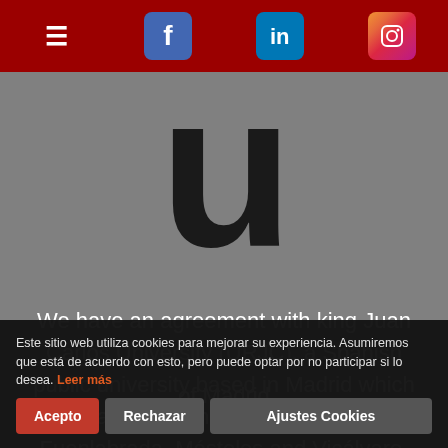Navigation bar with menu icon, Facebook, LinkedIn, and Instagram links
[Figure (logo): Large bold lowercase letter 'u' displayed as a logo on gray background]
We have an agreement with king Juan Carlos University (URJC), a Spanish public university based in Madrid which has campuses in Aranjuez, Alcorcón, Fuenlabrada, Móstoles and Vicálvaro,
of Madrid
about 45,45
each year. It is the second largest
Este sitio web utiliza cookies para mejorar su experiencia. Asumiremos que está de acuerdo con esto, pero puede optar por no participar si lo desea. Leer más
Acepto  Rechazar  Ajustes Cookies